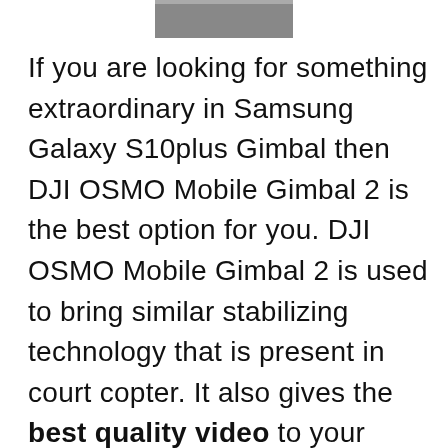[Figure (photo): Partial image of a device (likely a smartphone or gimbal) visible at the top of the page, cropped]
If you are looking for something extraordinary in Samsung Galaxy S10plus Gimbal then DJI OSMO Mobile Gimbal 2 is the best option for you. DJI OSMO Mobile Gimbal 2 is used to bring similar stabilizing technology that is present in court copter. It also gives the best quality video to your device as you would look in court copter. If you are using your Smartphone for capturing video that are right now at